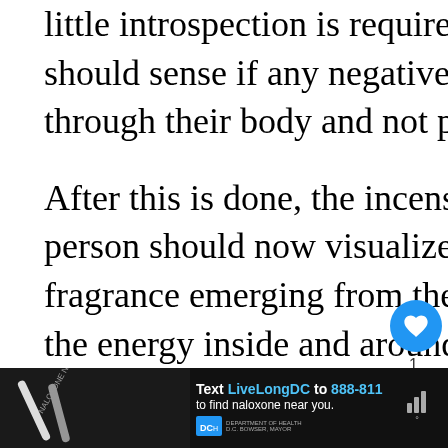little introspection is required. The person should sense if any negative energy is flowing through their body and not promptly react to it.
After this is done, the incense should be lit. The person should now visualize that the smoke and fragrance emerging from the incense are shifting the energy inside and around them, sending the negative energy to the universal consciousness.
[Figure (screenshot): UI overlay with heart/like button (blue circle with heart icon), share button (grey circle with share icon), count badge showing 1, and a 'WHAT'S NEXT' panel showing a purple circle thumbnail and 'How To Cleanse...' text]
[Figure (screenshot): Advertisement banner at bottom: dark background, needle/syringe image on left, text 'Text LiveLongDC to 888-811 to find naloxone near you.' with DC Health logo, and audio/media icons on right]